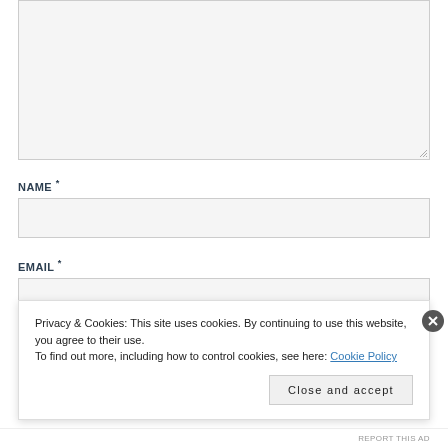[Figure (screenshot): A textarea input box (comment field), empty, with gray background and resize handle at bottom right]
NAME *
[Figure (screenshot): A text input box for Name field, empty, with gray background]
EMAIL *
[Figure (screenshot): A text input box for Email field, empty, with gray background]
Privacy & Cookies: This site uses cookies. By continuing to use this website, you agree to their use.
To find out more, including how to control cookies, see here: Cookie Policy
Close and accept
REPORT THIS AD